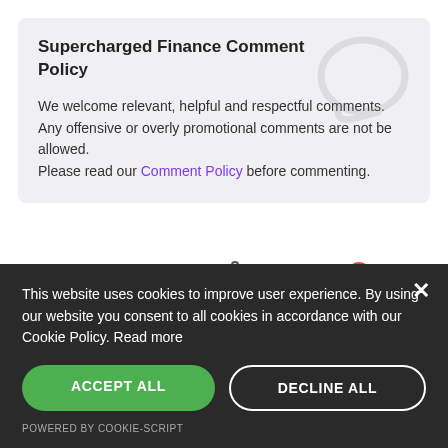Supercharged Finance Comment Policy
We welcome relevant, helpful and respectful comments. Any offensive or overly promotional comments are not be allowed. Please read our Comment Policy before commenting.
Comments   Community   🔒   1   Login
♡ Favorite   Sort by Best
This website uses cookies to improve user experience. By using our website you consent to all cookies in accordance with our Cookie Policy. Read more
ACCEPT ALL
DECLINE ALL
POWERED BY COOKIE-SCRIPT